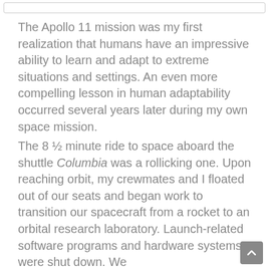The Apollo 11 mission was my first realization that humans have an impressive ability to learn and adapt to extreme situations and settings. An even more compelling lesson in human adaptability occurred several years later during my own space mission.
The 8 ½ minute ride to space aboard the shuttle Columbia was a rollicking one. Upon reaching orbit, my crewmates and I floated out of our seats and began work to transition our spacecraft from a rocket to an orbital research laboratory. Launch-related software programs and hardware systems were shut down. We